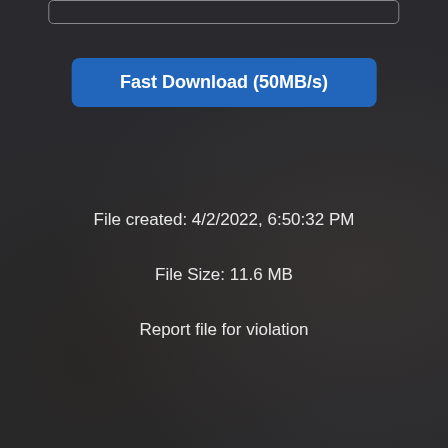[Figure (screenshot): Top input/search bar with rounded rectangle border at the top of the page]
Fast Download (50MB/s)
File created: 4/2/2022, 6:50:32 PM
File Size: 11.6 MB
Report file for violation